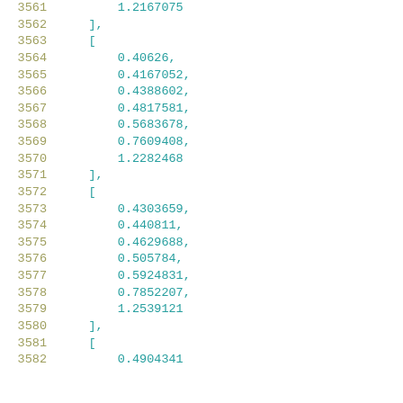3561    1.2167075
3562    ],
3563    [
3564        0.40626,
3565        0.4167052,
3566        0.4388602,
3567        0.4817581,
3568        0.5683678,
3569        0.7609408,
3570        1.2282468
3571    ],
3572    [
3573        0.4303659,
3574        0.440811,
3575        0.4629688,
3576        0.505784,
3577        0.5924831,
3578        0.7852207,
3579        1.2539121
3580    ],
3581    [
3582        0.4904341